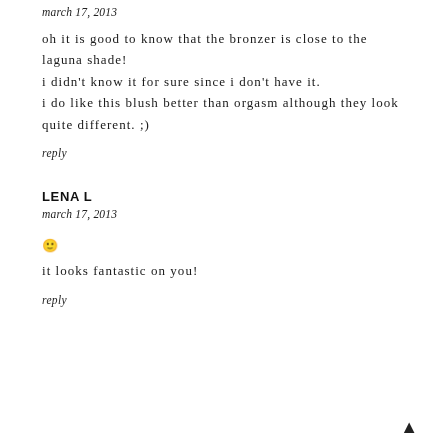march 17, 2013
oh it is good to know that the bronzer is close to the laguna shade!
i didn't know it for sure since i don't have it.
i do like this blush better than orgasm although they look quite different. ;)
reply
LENA L
march 17, 2013
🙂
it looks fantastic on you!
reply